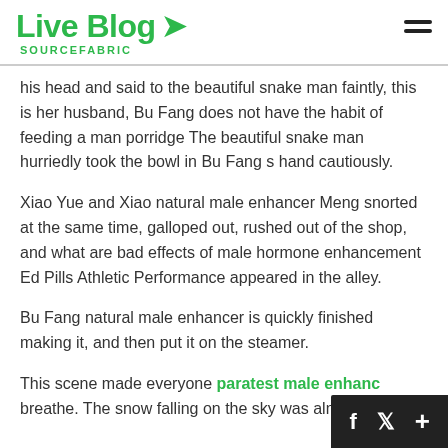Live Blog SOURCEFABRIC
his head and said to the beautiful snake man faintly, this is her husband, Bu Fang does not have the habit of feeding a man porridge The beautiful snake man hurriedly took the bowl in Bu Fang s hand cautiously.
Xiao Yue and Xiao natural male enhancer Meng snorted at the same time, galloped out, rushed out of the shop, and what are bad effects of male hormone enhancement Ed Pills Athletic Performance appeared in the alley.
Bu Fang natural male enhancer is quickly finished making it, and then put it on the steamer.
This scene made everyone paratest male enhancement breathe. The snow falling on the sky was almost s